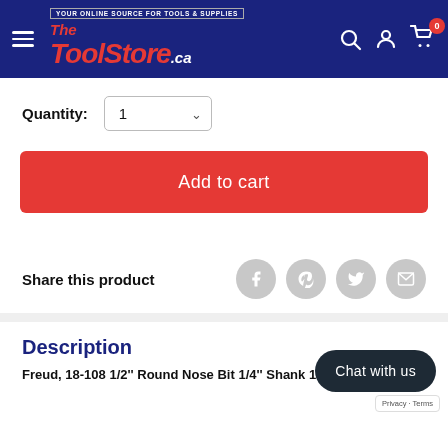The ToolStore.ca — YOUR ONLINE SOURCE FOR TOOLS & SUPPLIES
Quantity: 1
Add to cart
Share this product
Description
Freud, 18-108 1/2'' Round Nose Bit 1/4'' Shank 13722